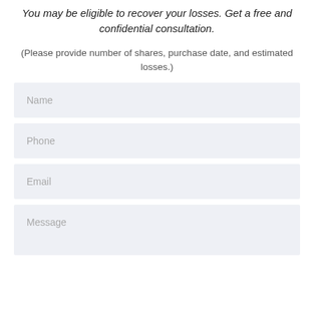You may be eligible to recover your losses. Get a free and confidential consultation.
(Please provide number of shares, purchase date, and estimated losses.)
Name
Phone
Email
Message